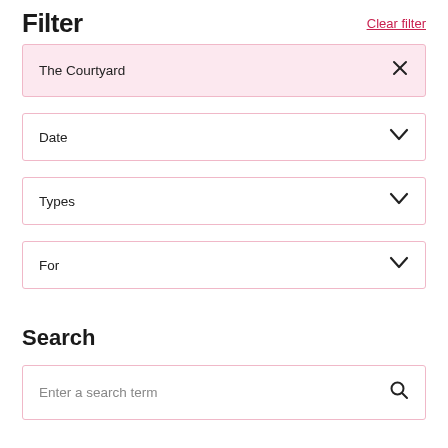Filter
Clear filter
The Courtyard ×
Date ∨
Types ∨
For ∨
Search
Enter a search term